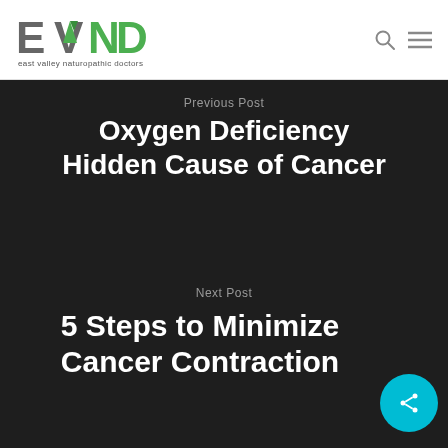EVND east valley naturopathic doctors
Previous Post
Oxygen Deficiency Hidden Cause of Cancer
Next Post
5 Steps to Minimize Cancer Contraction